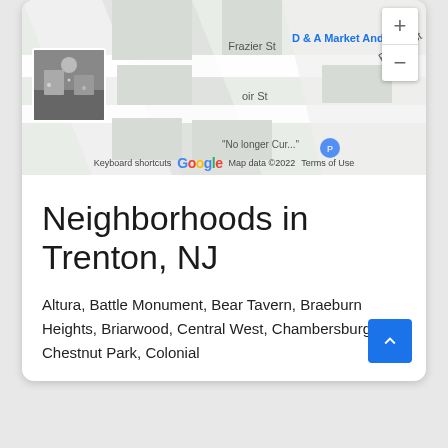[Figure (screenshot): Google Maps screenshot showing a street map near Frazier St with D & A Market And label, Noir St, zoom controls (+/-), a street view thumbnail, and map footer with Keyboard shortcuts, Map data ©2022, Terms of Use.]
Neighborhoods in Trenton, NJ
Altura, Battle Monument, Bear Tavern, Braeburn Heights, Briarwood, Central West, Chambersburg, Chestnut Park, Colonial